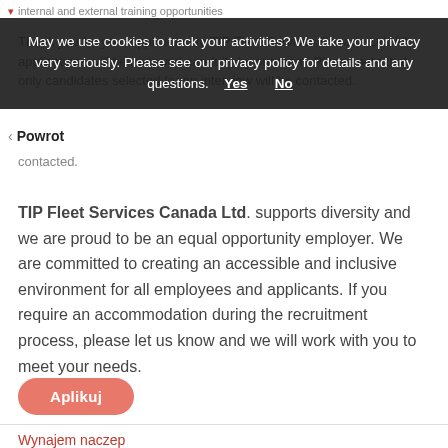internal and external training opportunities
Thank you for your application to TIP Fleet Services Canada Ltd. All applications will be reviewed carefully by our team. Please note that only candidates selected for an interview will be contacted.
May we use cookies to track your activities? We take your privacy very seriously. Please see our privacy policy for details and any questions. Yes No
< Powrot
contacted.
TIP Fleet Services Canada Ltd. supports diversity and we are proud to be an equal opportunity employer. We are committed to creating an accessible and inclusive environment for all employees and applicants. If you require an accommodation during the recruitment process, please let us know and we will work with you to meet your needs.
Aplikuj
Wynajem naczep